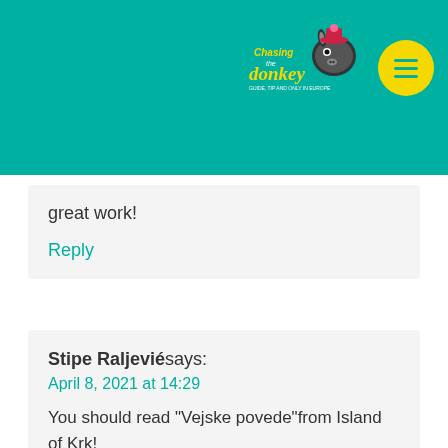[Figure (logo): Chasing the Donkey travel blog logo with cartoon donkey character, yellow circle with teal menu hamburger icon]
great work!
Reply
Stipe Raljevićsays:
April 8, 2021 at 14:29
You should read "Vejske povede"from Island of Krk!
And about King Tomislava you need to find